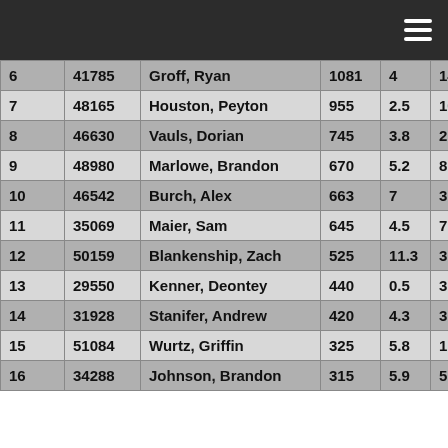| 6 | 41785 | Groff, Ryan | 1081 | 4 | 14 | 0 |
| 7 | 48165 | Houston, Peyton | 955 | 2.5 | 10 | 0 |
| 8 | 46630 | Vauls, Dorian | 745 | 3.8 | 2 | 0 |
| 9 | 48980 | Marlowe, Brandon | 670 | 5.2 | 8 | 0 |
| 10 | 46542 | Burch, Alex | 663 | 7 | 3 | 0 |
| 11 | 35069 | Maier, Sam | 645 | 4.5 | 7 | 0 |
| 12 | 50159 | Blankenship, Zach | 525 | 11.3 | 3 | 0 |
| 13 | 29550 | Kenner, Deontey | 440 | 0.5 | 3 | 0 |
| 14 | 31928 | Stanifer, Andrew | 420 | 4.3 | 3 | 0 |
| 15 | 51084 | Wurtz, Griffin | 325 | 5.8 | 1 | 0 |
| 16 | 34288 | Johnson, Brandon | 315 | 5.9 | 5 | 0 |